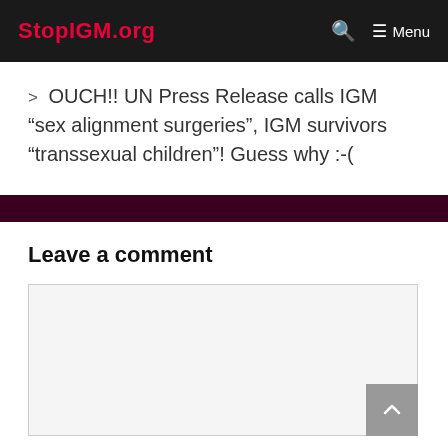StopIGM.org   🔍   ☰ Menu
> OUCH!! UN Press Release calls IGM “sex alignment surgeries”, IGM survivors “transsexual children”! Guess why :-(
Leave a comment